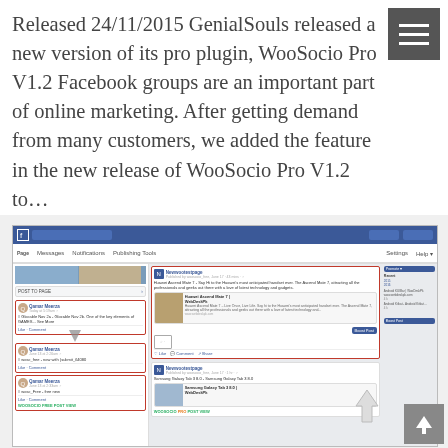Released 24/11/2015 GenialSouls released a new version of its pro plugin, WooSocio Pro V1.2 Facebook groups are an important part of online marketing. After getting demand from many customers, we added the feature in the new release of WooSocio Pro V1.2 to…
[Figure (screenshot): Screenshot of a Facebook page management interface showing posts, a highlighted post about Huawei Ascend Mate 7 with a red border and boost post button, and WooSocio post view labels with arrows pointing to posts.]